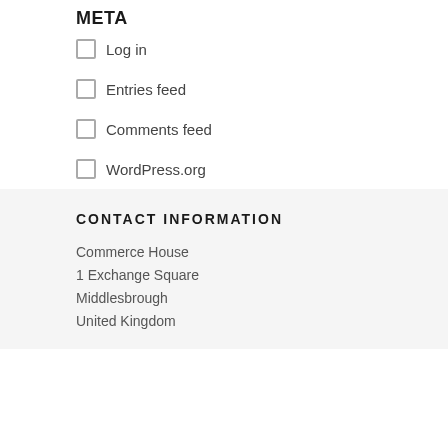META
Log in
Entries feed
Comments feed
WordPress.org
CONTACT INFORMATION
Commerce House
1 Exchange Square
Middlesbrough
United Kingdom